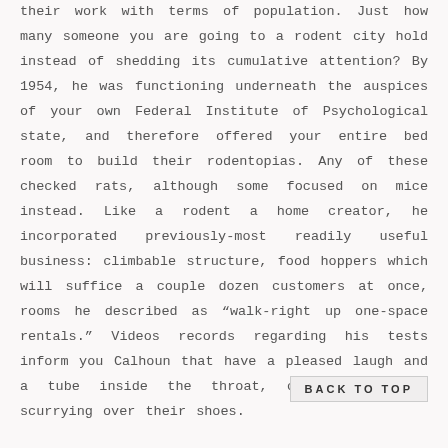their work with terms of population. Just how many someone you are going to a rodent city hold instead of shedding its cumulative attention? By 1954, he was functioning underneath the auspices of your own Federal Institute of Psychological state, and therefore offered your entire bed room to build their rodentopias. Any of these checked rats, although some focused on mice instead. Like a rodent a home creator, he incorporated previously-most readily useful business: climbable structure, food hoppers which will suffice a couple dozen customers at once, rooms he described as “walk-right up one-space rentals.” Videos records regarding his tests inform you Calhoun that have a pleased laugh and a tube inside the throat, color-coded rats scurrying over their shoes. Still, within a specific area, each o collapsed. “There can be zero escape from the latest
BACK TO TOP